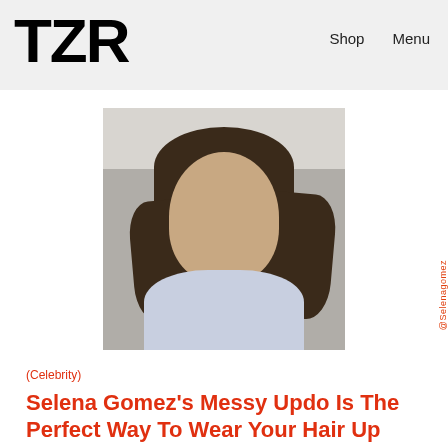TZR   Shop   Menu
[Figure (photo): Selena Gomez with curly dark hair, wearing a light blue sweater and crystal earrings, selfie-style photo]
@Selenagomez
(Celebrity)
Selena Gomez's Messy Updo Is The Perfect Way To Wear Your Hair Up With Long Bob